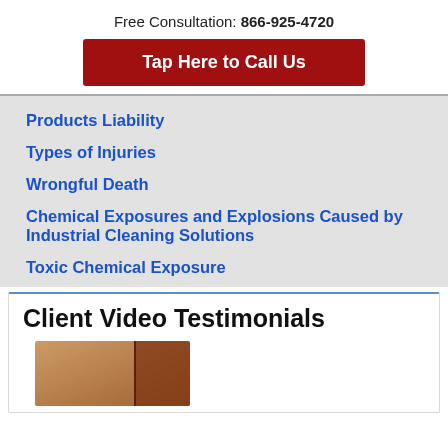Free Consultation: 866-925-4720
Tap Here to Call Us
Products Liability
Types of Injuries
Wrongful Death
Chemical Exposures and Explosions Caused by Industrial Cleaning Solutions
Toxic Chemical Exposure
Client Video Testimonials
[Figure (photo): Partial view of a video testimonial thumbnail showing a person]